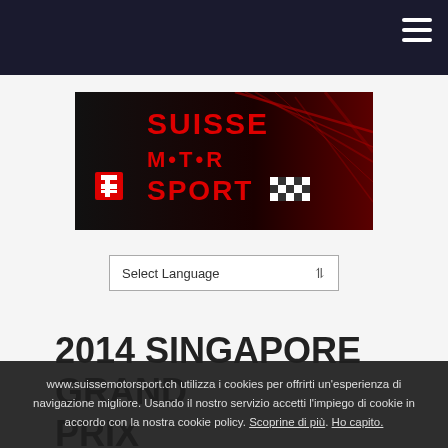Navigation bar with hamburger menu
[Figure (logo): Suisse Motor Sport logo — black background with red stylized text reading 'SUISSE MOTOR SPORT' with a checkered flag graphic]
Select Language
2014 SINGAPORE GRAND PRIX
www.suissemotorsport.ch utilizza i cookies per offrirti un'esperienza di navigazione migliore. Usando il nostro servizio accetti l'impiego di cookie in accordo con la nostra cookie policy. Scoprine di più. Ho capito.